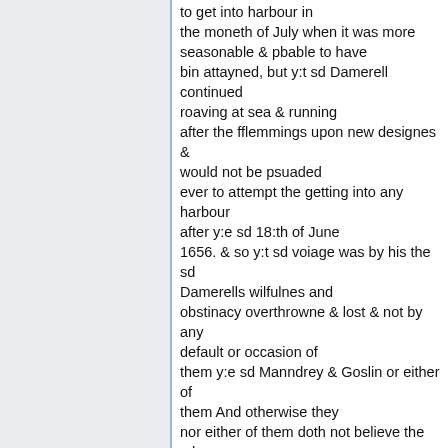to get into harbour in the moneth of July when it was more seasonable & pbable to have bin attayned, but y:t sd Damerell continued roaving at sea & running after the fflemmings upon new designes & would not be psuaded ever to attempt the getting into any harbour after y:e sd 18:th of June 1656. & so y:t sd voiage was by his the sd Damerells wilfulnes and obstinacy overthrowne & lost & not by any default or occasion of them y:e sd Manndrey & Goslin or either of them And otherwise they nor either of them doth not believe the sd arles or either of them to be true in any pte
10 To the 10:th they & each of them answereth they believe the said Batson & comp:a were at charge for the